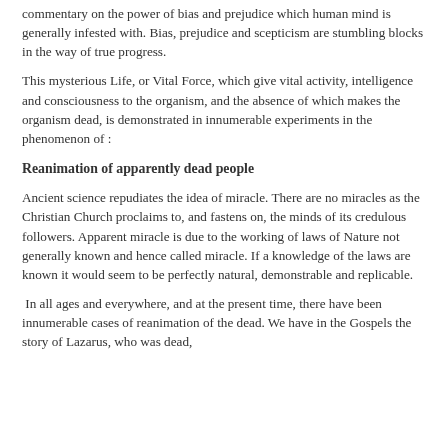commentary on the power of bias and prejudice which human mind is generally infested with. Bias, prejudice and scepticism are stumbling blocks in the way of true progress.
This mysterious Life, or Vital Force, which give vital activity, intelligence and consciousness to the organism, and the absence of which makes the organism dead, is demonstrated in innumerable experiments in the phenomenon of :
Reanimation of apparently dead people
Ancient science repudiates the idea of miracle. There are no miracles as the Christian Church proclaims to, and fastens on, the minds of its credulous followers. Apparent miracle is due to the working of laws of Nature not generally known and hence called miracle. If a knowledge of the laws are known it would seem to be perfectly natural, demonstrable and replicable.
In all ages and everywhere, and at the present time, there have been innumerable cases of reanimation of the dead. We have in the Gospels the story of Lazarus, who was dead,